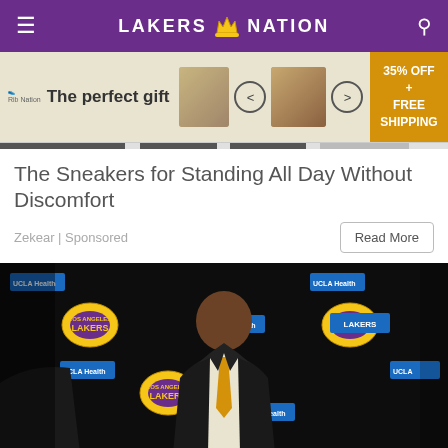LAKERS NATION
[Figure (photo): Advertisement banner: The perfect gift with food image, 35% OFF + FREE SHIPPING]
The Sneakers for Standing All Day Without Discomfort
Zekear | Sponsored
[Figure (photo): Photo of a man in a suit with a gold tie at a Lakers press conference with UCLA Health and Lakers logos in background]